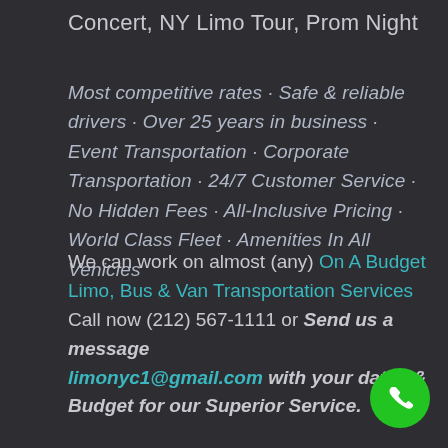Concert, NY Limo Tour, Prom Night
Most competitive rates · Safe & reliable drivers · Over 25 years in business · Event Transportation · Corporate Transportation · 24/7 Customer Service · No Hidden Fees · All-Inclusive Pricing · World Class Fleet · Amenities In All Vehicles
We can work on almost (any) On A Budget Limo, Bus & Van Transportation Services Call now (212) 567-1111 or Send us a message limonyc1@gmail.com with your dates & Budget for our Superior Service.
[Figure (illustration): Green circular phone call button icon with white telephone handset graphic, positioned in bottom-right corner]